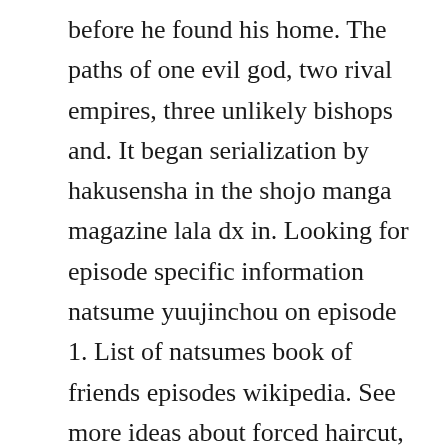before he found his home. The paths of one evil god, two rival empires, three unlikely bishops and. It began serialization by hakusensha in the shojo manga magazine lala dx in. Looking for episode specific information natsume yuujinchou on episode 1. List of natsumes book of friends episodes wikipedia. See more ideas about forced haircut, hair cuts and long hair styles. Natsume has always been an outcast because he inherited his grandmother reikos ability to see yokai strange beings that are invisible to